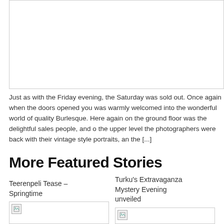[Figure (photo): Large white/blank image box at the top of the page, bordered]
Just as with the Friday evening, the Saturday was sold out. Once again when the doors opened you was warmly welcomed into the wonderful world of quality Burlesque. Here again on the ground floor was the delightful sales people, and on the upper level the photographers were back with their vintage style portraits, and the [...]
More Featured Stories
Teerenpeli Tease – Springtime
Turku's Extravaganza Mystery Evening unveiled
[Figure (photo): Broken/placeholder image for Teerenpeli Tease story]
[Figure (photo): Broken/placeholder image for Turku's Extravaganza story]